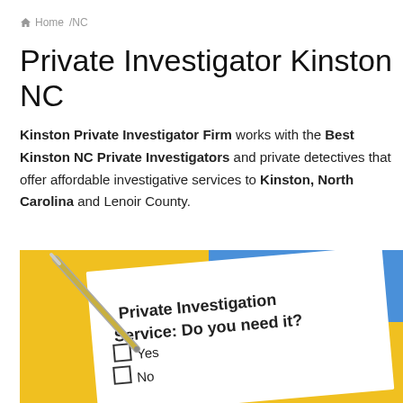Home / NC
Private Investigator Kinston NC
Kinston Private Investigator Firm works with the Best Kinston NC Private Investigators and private detectives that offer affordable investigative services to Kinston, North Carolina and Lenoir County.
[Figure (photo): Photo of a form titled 'Private Investigation Service: Do you need it?' with checkboxes for Yes and No, a pen resting on it, on a yellow background with blue paper in background.]